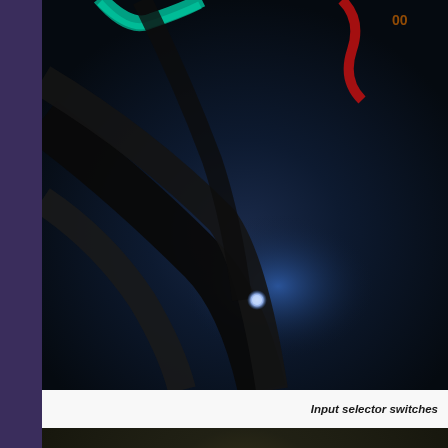[Figure (photo): Close-up photo of input selector switches — cables and switch components visible against a dark background with blue lighting.]
Input selector switches
[Figure (photo): Close-up photo of a blue PCB (printed circuit board) showing electronic components including resistors and solder pads/connectors, resting on a dark textured surface.]